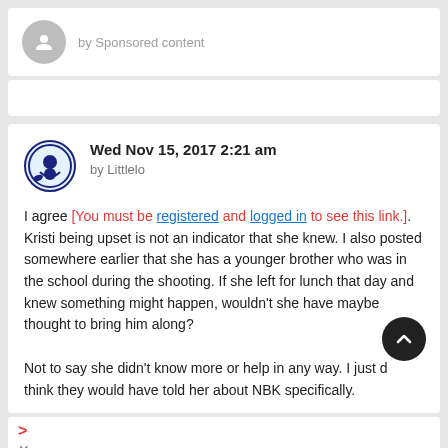by Sponsored content
Wed Nov 15, 2017 2:21 am
by Littlelo
I agree [You must be registered and logged in to see this link.]. Kristi being upset is not an indicator that she knew. I also posted somewhere earlier that she has a younger brother who was in the school during the shooting. If she left for lunch that day and knew something might happen, wouldn't she have maybe thought to bring him along?

Not to say she didn't know more or help in any way. I just don't think they would have told her about NBK specifically.